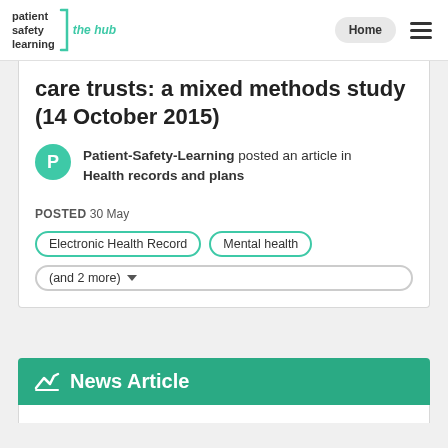patient safety learning | the hub | Home
care trusts: a mixed methods study (14 October 2015)
Patient-Safety-Learning posted an article in Health records and plans
POSTED 30 May
Electronic Health Record
Mental health
(and 2 more)
News Article